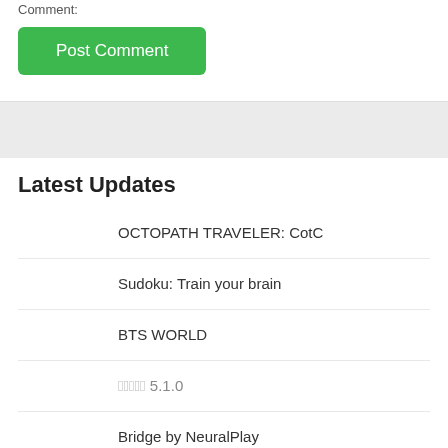Post Comment:
Post Comment
Latest Updates
OCTOPATH TRAVELER: CotC
Sudoku: Train your brain
BTS WORLD
????? 5.1.0
Bridge by NeuralPlay